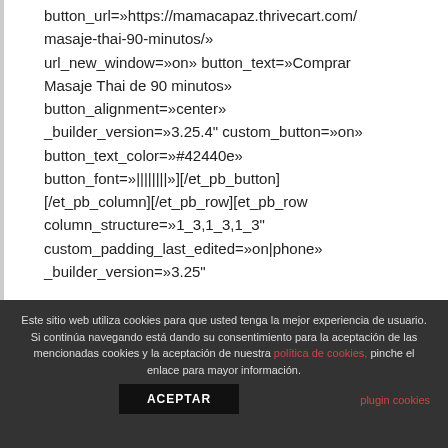button_url=»https://mamacapaz.thrivecart.com/ masaje-thai-90-minutos/» url_new_window=»on» button_text=»Comprar Masaje Thai de 90 minutos» button_alignment=»center» _builder_version=»3.25.4" custom_button=»on» button_text_color=»#42440e» button_font=»||||||||»][/et_pb_button] [/et_pb_column][/et_pb_row][et_pb_row column_structure=»1_3,1_3,1_3" custom_padding_last_edited=»on|phone» _builder_version=»3.25"
Este sitio web utiliza cookies para que usted tenga la mejor experiencia de usuario. Si continúa navegando está dando su consentimiento para la aceptación de las mencionadas cookies y la aceptación de nuestra política de cookies, pinche el enlace para mayor información.
ACEPTAR
plugin cookies